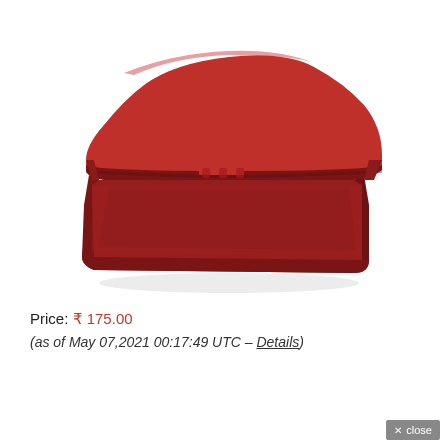[Figure (photo): A red plastic lunch box / storage container with a hinged lid open, showing the interior. The box is rectangular with rounded corners, made of dark red/maroon colored plastic.]
Price: ₹ 175.00
(as of May 07,2021 00:17:49 UTC – Details)